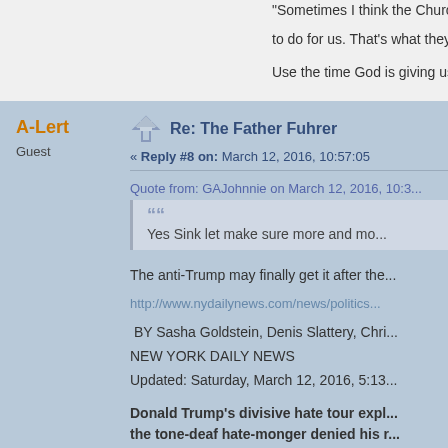"Sometimes I think the Church would be better off... to do for us. That's what they did before Penteco...
Use the time God is giving us to seek His will an...
Re: The Father Fuhrer
« Reply #8 on: March 12, 2016, 10:57:05
Quote from: GAJohnnie on March 12, 2016, 10:3...
Yes Sink let make sure more and mo...
The anti-Trump may finally get it after the...
http://www.nydailynews.com/news/politics...
BY Sasha Goldstein, Denis Slattery, Chri...
NEW YORK DAILY NEWS
Updated: Saturday, March 12, 2016, 5:13...
Donald Trump's divisive hate tour expl... the tone-deaf hate-monger denied his r...